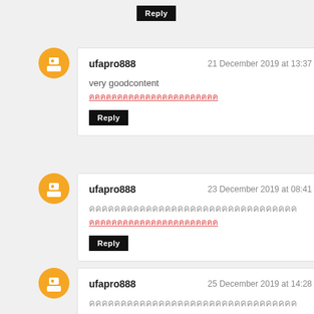Reply (top partial)
ufapro888 — 21 December 2019 at 13:37
very goodcontent
[Thai link text]
Reply
ufapro888 — 23 December 2019 at 08:41
[Thai text line 1]
[Thai link text]
Reply
ufapro888 — 25 December 2019 at 14:28
[Thai text line 1]
[Thai link text]
Reply